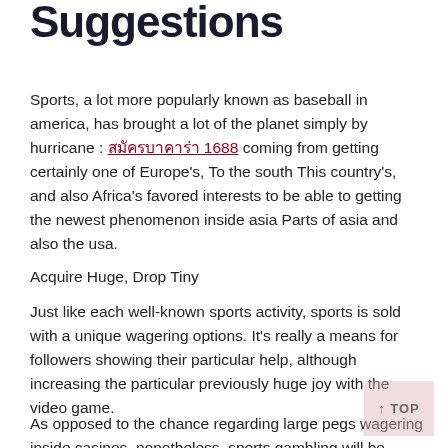Suggestions
Sports, a lot more popularly known as baseball in america, has brought a lot of the planet simply by hurricane : สมัครบาคาร่า 1688 coming from getting certainly one of Europe's, To the south This country's, and also Africa's favored interests to be able to getting the newest phenomenon inside asia Parts of asia and also the usa.
Acquire Huge, Drop Tiny
Just like each well-known sports activity, sports is sold with a unique wagering options. It's really a means for followers showing their particular help, although increasing the particular previously huge joy with the video game.
As opposed to the chance regarding large pegs wagering inside casinos, nonetheless, sports gambling will be